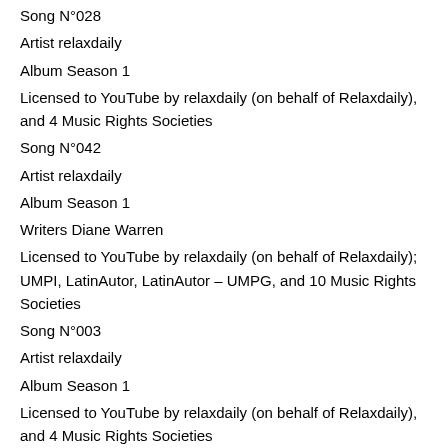Song N°028
Artist relaxdaily
Album Season 1
Licensed to YouTube by relaxdaily (on behalf of Relaxdaily), and 4 Music Rights Societies
Song N°042
Artist relaxdaily
Album Season 1
Writers Diane Warren
Licensed to YouTube by relaxdaily (on behalf of Relaxdaily); UMPI, LatinAutor, LatinAutor – UMPG, and 10 Music Rights Societies
Song N°003
Artist relaxdaily
Album Season 1
Licensed to YouTube by relaxdaily (on behalf of Relaxdaily), and 4 Music Rights Societies
Song N°004